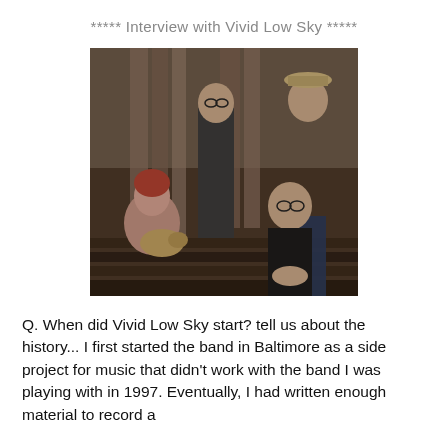***** Interview with Vivid Low Sky *****
[Figure (photo): Band photo of Vivid Low Sky: four members posed outdoors on a wooden bench/deck area. A woman with red hair holds a small dog on the left, two men standing in the back, and one man seated on the right wearing glasses.]
Q. When did Vivid Low Sky start? tell us about the history... I first started the band in Baltimore as a side project for music that didn't work with the band I was playing with in 1997. Eventually, I had written enough material to record a